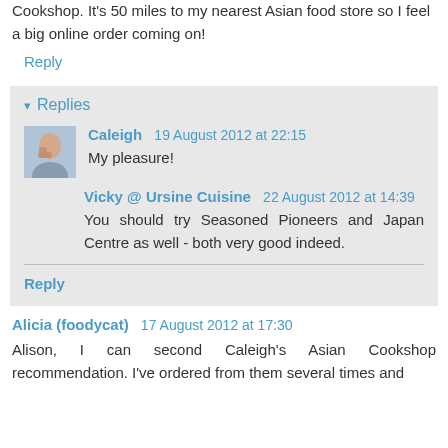Cookshop. It's 50 miles to my nearest Asian food store so I feel a big online order coming on!
Reply
▾ Replies
Caleigh  19 August 2012 at 22:15
My pleasure!
Vicky @ Ursine Cuisine  22 August 2012 at 14:39
You should try Seasoned Pioneers and Japan Centre as well - both very good indeed.
Reply
Alicia (foodycat)  17 August 2012 at 17:30
Alison, I can second Caleigh's Asian Cookshop recommendation. I've ordered from them several times and